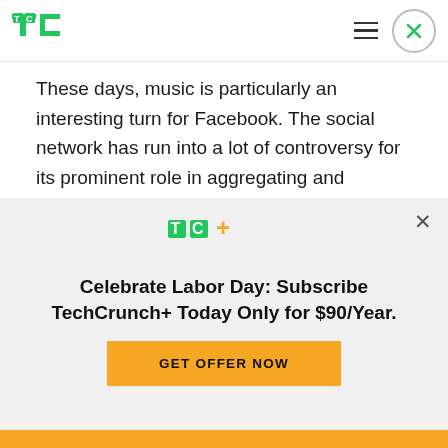TechCrunch header with logo, hamburger menu, and close button
These days, music is particularly an interesting turn for Facebook. The social network has run into a lot of controversy for its prominent role in aggregating and distributing news to the world — with a significant part of that news turning out to be misleading and potentially damaging to public opinions and larger issues like the democratic
[Figure (logo): TechCrunch+ logo (TC+ in green and yellow) inside a subscription paywall banner]
Celebrate Labor Day: Subscribe TechCrunch+ Today Only for $90/Year.
GET OFFER NOW